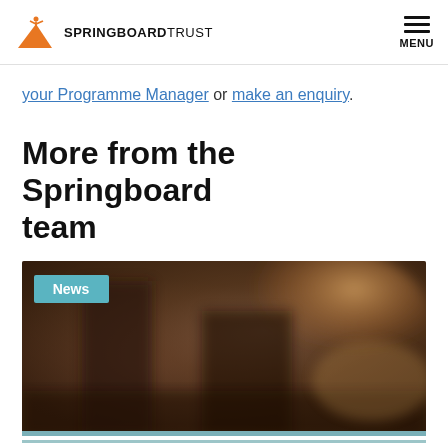SPRINGBOARD TRUST | MENU
your Programme Manager or make an enquiry.
More from the Springboard team
[Figure (photo): Blurred interior room photo with a 'News' badge overlay in teal/blue color]
Springboard's guide to Zoom: